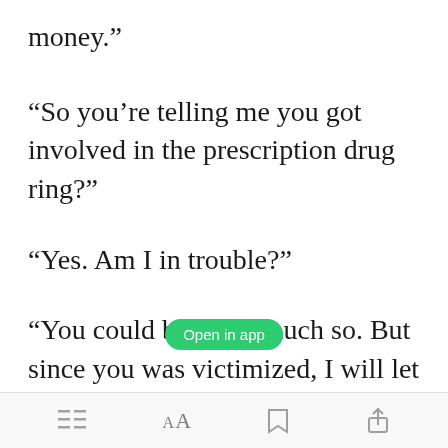money.”
“So you’re telling me you got involved in the prescription drug ring?”
“Yes. Am I in trouble?”
“You could be. Very much so. But since you was victimized, I will let you off the hook on one condition.”
[Figure (screenshot): Green 'Open in app' button overlay]
[Figure (screenshot): Reading app toolbar with menu, font size, bookmark, and share icons]